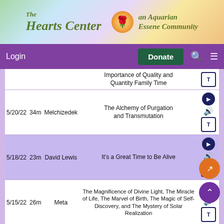[Figure (logo): The Hearts Center - an Aquarian Essene Community banner with gradient background and rose icon]
Login | Donate | Search | Menu
| Date | Duration | Speaker | Title | Actions |
| --- | --- | --- | --- | --- |
|  |  |  | Importance of Quality and Quantity Family Time | T |
| 5/20/22 | 34m | Melchizedek | The Alchemy of Purgation and Transmutation | ▶ 🔊 T |
| 5/18/22 | 23m | David Lewis | It's a Great Time to Be Alive | ▶ 🔊 T |
| 5/15/22 | 26m | Meta | The Magnificence of Divine Light, The Miracle of Life, The Marvel of Birth, The Magic of Self-Discovery, and The Mystery of Solar Realization | ▶ 🔊 T |
| 5/15/22 | 12m | David Lewis | What Is a Breath of Fresh Air? | ▶ 🔊 |